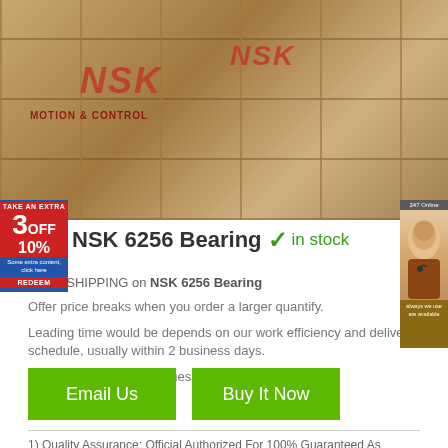[Figure (photo): Warehouse shelves stacked with cardboard boxes of NSK bearings, showing NSK branding in red on boxes]
NSK 6256 Bearing ✓ in stock
FREE SHIPPING on NSK 6256 Bearing
Offer price breaks when you order a larger quantify.
Leading time would be depends on our work efficiency and delivery schedule, usually within 2 business days.
Shipping: Ships in 2 business day
Email Us
Buy It Now
1) Quality Assurance: Official Authorized For 100% Guaranteed As Described